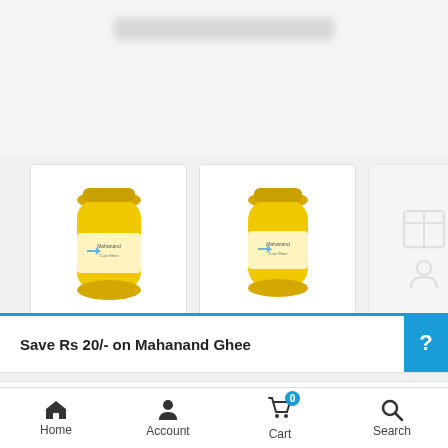[Figure (screenshot): Top portion of e-commerce product page showing blurred top navigation bar]
[Figure (photo): Two yellow jar product thumbnail images of Mahanand Ghee side by side in white cards, with a placeholder ghost icon on the right]
Save Rs 20/- on Mahanand Ghee
Mahanand Cow Ghee 1 litre Jar
★★★★★ (7 customer reviews )
Home   Account   Cart   Search